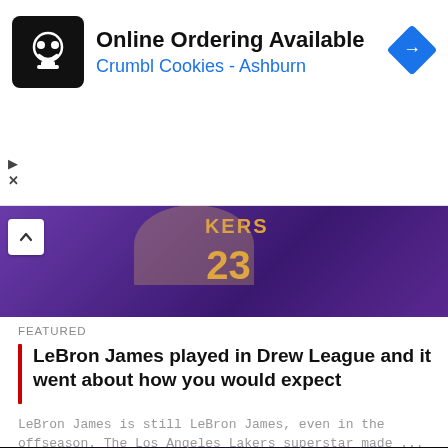[Figure (screenshot): Ad banner for Crumbl Cookies - Ashburn with logo, title 'Online Ordering Available', subtitle 'Crumbl Cookies - Ashburn', and navigation arrow icon]
Online Ordering Available
Crumbl Cookies - Ashburn
[Figure (photo): Lakers player (jersey number 23) raising hands, purple uniform, crowd background]
FEATURED
LeBron James played in Drew League and it went about how you would expect
LeBron James is still LeBron James, even in the offseason. The Los Angeles Lakers superstar made ...
[Figure (photo): NBA player (Memphis Grizzlies, light blue jersey) with mouth open celebrating, green scoreboard LED lights in background]